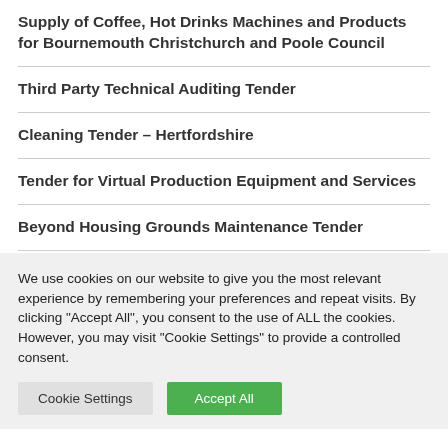Supply of Coffee, Hot Drinks Machines and Products for Bournemouth Christchurch and Poole Council
Third Party Technical Auditing Tender
Cleaning Tender – Hertfordshire
Tender for Virtual Production Equipment and Services
Beyond Housing Grounds Maintenance Tender
We use cookies on our website to give you the most relevant experience by remembering your preferences and repeat visits. By clicking "Accept All", you consent to the use of ALL the cookies. However, you may visit "Cookie Settings" to provide a controlled consent.